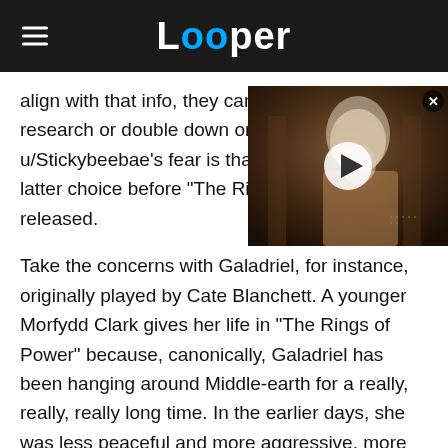Looper
align with that info, they can either expand their research or double down on u/Stickybeebae's fear is that latter choice before "The Ri released.
[Figure (photo): Video thumbnail showing an elderly man with long white hair and beard, in a dimly lit setting, with a play button overlay]
Take the concerns with Galadriel, for instance, originally played by Cate Blanchett. A younger Morfydd Clark gives her life in "The Rings of Power" because, canonically, Galadriel has been hanging around Middle-earth for a really, really, really long time. In the earlier days, she was less peaceful and more aggressive, more war-minded. She had to be —